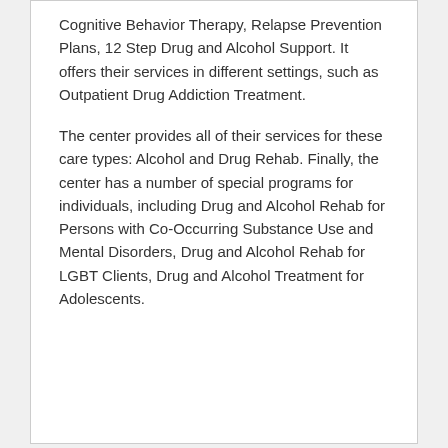Cognitive Behavior Therapy, Relapse Prevention Plans, 12 Step Drug and Alcohol Support. It offers their services in different settings, such as Outpatient Drug Addiction Treatment.
The center provides all of their services for these care types: Alcohol and Drug Rehab. Finally, the center has a number of special programs for individuals, including Drug and Alcohol Rehab for Persons with Co-Occurring Substance Use and Mental Disorders, Drug and Alcohol Rehab for LGBT Clients, Drug and Alcohol Treatment for Adolescents.